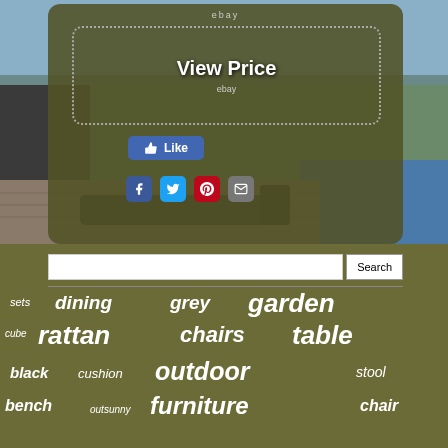[Figure (screenshot): eBay product listing page screenshot showing outdoor furniture / rattan garden furniture. Top section shows olive-colored overlay with 'View Price' button on dotted border, ebay label, Like button, and social sharing icons (Facebook, Twitter, Pinterest, Email). Bottom section shows search bar and tag cloud with furniture-related keywords: sets, dining, grey, garden, rattan, chairs, table, cube, black, cushion, outdoor, stool, bench, outsunny, furniture, chair.]